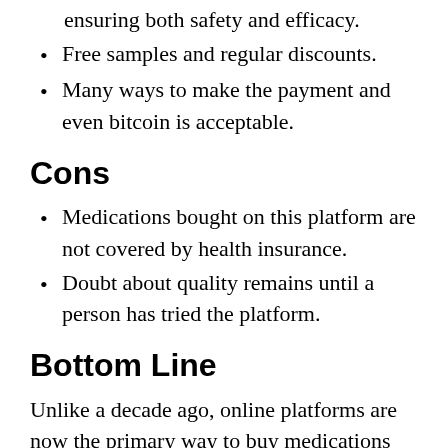ensuring both safety and efficacy.
Free samples and regular discounts.
Many ways to make the payment and even bitcoin is acceptable.
Cons
Medications bought on this platform are not covered by health insurance.
Doubt about quality remains until a person has tried the platform.
Bottom Line
Unlike a decade ago, online platforms are now the primary way to buy medications like store visions of Viagra, Cialis, Pens, let me